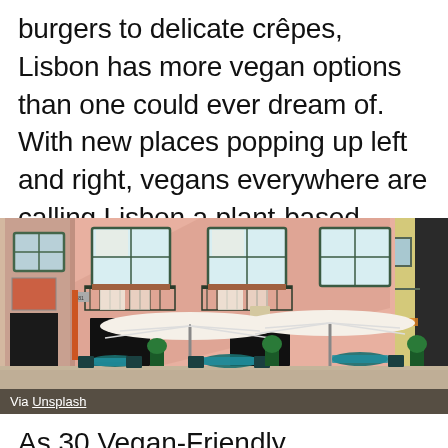burgers to delicate crêpes, Lisbon has more vegan options than one could ever dream of. With new places popping up left and right, vegans everywhere are calling Lisbon a plant-based paradise.
[Figure (photo): Street-level photo of a pink building facade in Lisbon with outdoor cafe seating — white parasol umbrellas, teal-clothed tables, potted plants, iron balconies, and white-framed windows.]
Via Unsplash
As 30 Vegan-Friendly Restaurants in Lisbon to dine...